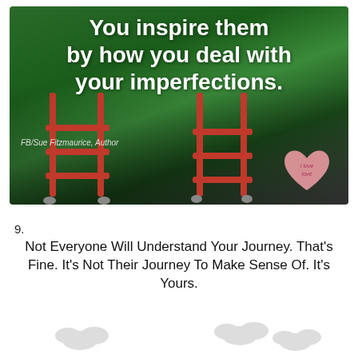[Figure (photo): Photo of people with red luggage/shopping carts on a gray pavement with green background. White bold text overlay reads: 'You inspire them by how you deal with your imperfections.' Attribution: FB/Sue Fitzmaurice, Author. Pink heart watermark in bottom right.]
9.
[Figure (illustration): Cartoon illustration of Snoopy driving a red car with Woodstock, surrounded by green bushes/trees and cloud shapes. Text above reads: 'Not Everyone Will Understand Your Journey. That's Fine. It's Not Their Journey To Make Sense Of. It's Yours.' in Comic Sans style font.]